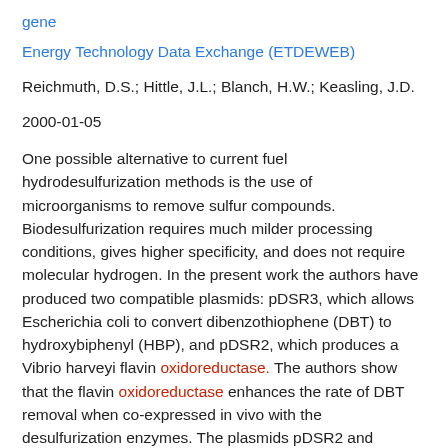gene
Energy Technology Data Exchange (ETDEWEB)
Reichmuth, D.S.; Hittle, J.L.; Blanch, H.W.; Keasling, J.D.
2000-01-05
One possible alternative to current fuel hydrodesulfurization methods is the use of microorganisms to remove sulfur compounds. Biodesulfurization requires much milder processing conditions, gives higher specificity, and does not require molecular hydrogen. In the present work the authors have produced two compatible plasmids: pDSR3, which allows Escherichia coli to convert dibenzothiophene (DBT) to hydroxybiphenyl (HBP), and pDSR2, which produces a Vibrio harveyi flavin oxidoreductase. The authors show that the flavin oxidoreductase enhances the rate of DBT removal when co-expressed in vivo with the desulfurization enzymes. The plasmids pDSR2 and pDSR3 were co-expressed in growing cultures. The expression of oxidoreductase caused an increase in the rate of DBT removal but a decrease in the rate of HBP production. The maximum rate of DBT removal was 8 mg/h {center{underscore}dot} g dry cell weight. Experiments were